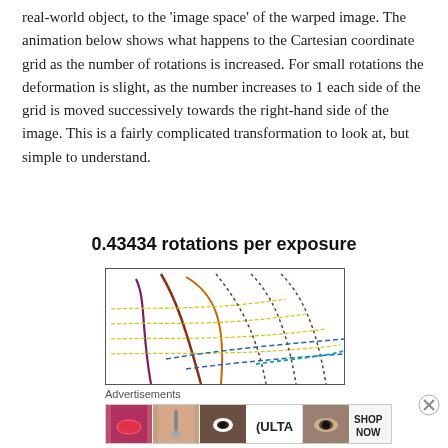real-world object, to the 'image space' of the warped image. The animation below shows what happens to the Cartesian coordinate grid as the number of rotations is increased. For small rotations the deformation is slight, as the number increases to 1 each side of the grid is moved successively towards the right-hand side of the image. This is a fairly complicated transformation to look at, but simple to understand.
0.43434 rotations per exposure
[Figure (illustration): A warped Cartesian coordinate grid showing curved colorful lines (purple, brown, orange, yellow, blue) distorted by rotational transformation, demonstrating 0.43434 rotations per exposure.]
Advertisements
[Figure (photo): Advertisement banner for Ulta Beauty showing cosmetics imagery: lips with lipstick, makeup brush on face, eye with mascara, Ulta logo, eye closeup, and SHOP NOW call to action.]